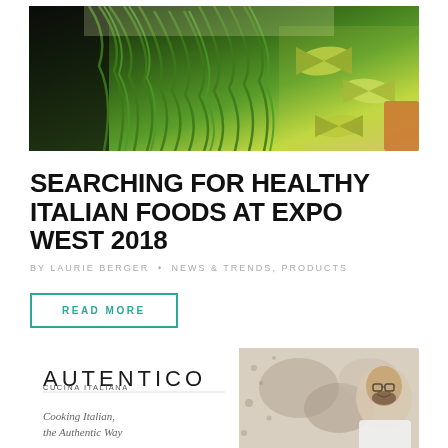[Figure (photo): Close-up photo of green and black fresh pasta noodles with ruffled farfalle pasta in yellow-green]
SEARCHING FOR HEALTHY ITALIAN FOODS AT EXPO WEST 2018
BY LAURIE BERGER • NEWS & TRENDS, PRODUCTS
READ MORE
[Figure (photo): Book cover image for AUTENTICO - Cooking Italian, the Authentic Way, with a photo of a smiling bearded man wearing glasses]